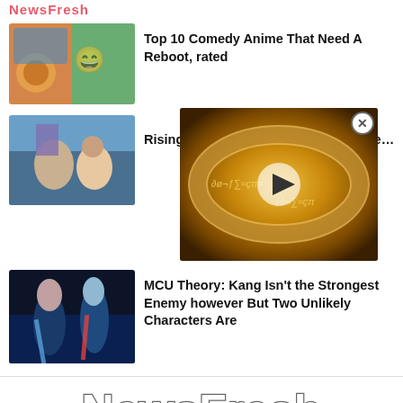NewsFresh logo header
[Figure (photo): Thumbnail image collage of comedy anime characters]
Top 10 Comedy Anime That Need A Reboot, rated
[Figure (photo): Thumbnail of Rising of the Shield Hero characters]
Rising of the Shield Hero Ethnina's Re...
[Figure (photo): Video overlay showing a golden ring with elvish script - Lord of the Rings themed video with play button]
[Figure (photo): MCU characters with weapons in dark sci-fi setting]
MCU Theory: Kang Isn't the Strongest Enemy however But Two Unlikely Characters Are
NewsFresh